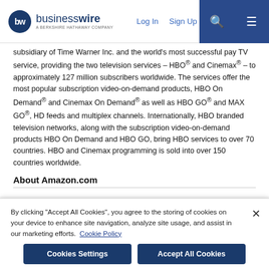businesswire — A BERKSHIRE HATHAWAY COMPANY | Log In | Sign Up
subsidiary of Time Warner Inc. and the world's most successful pay TV service, providing the two television services – HBO® and Cinemax® – to approximately 127 million subscribers worldwide. The services offer the most popular subscription video-on-demand products, HBO On Demand® and Cinemax On Demand® as well as HBO GO® and MAX GO®, HD feeds and multiplex channels. Internationally, HBO branded television networks, along with the subscription video-on-demand products HBO On Demand and HBO GO, bring HBO services to over 70 countries. HBO and Cinemax programming is sold into over 150 countries worldwide.
About Amazon.com
By clicking "Accept All Cookies", you agree to the storing of cookies on your device to enhance site navigation, analyze site usage, and assist in our marketing efforts.  Cookie Policy
Cookies Settings | Accept All Cookies